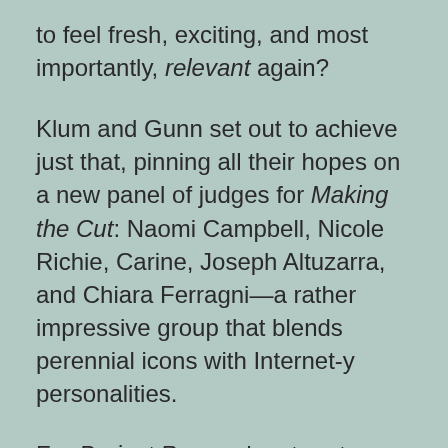to feel fresh, exciting, and most importantly, relevant again?
Klum and Gunn set out to achieve just that, pinning all their hopes on a new panel of judges for Making the Cut: Naomi Campbell, Nicole Richie, Carine, Joseph Altuzarra, and Chiara Ferragni—a rather impressive group that blends perennial icons with Internet-y personalities.
For Project Runway's return to Bravo, the show features new hosts—Karlie Kloss and Christian Siriano—and judges that include